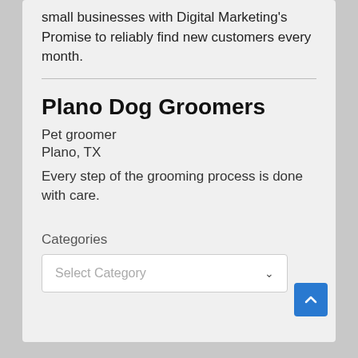small businesses with Digital Marketing's Promise to reliably find new customers every month.
Plano Dog Groomers
Pet groomer
Plano, TX
Every step of the grooming process is done with care.
Categories
Select Category